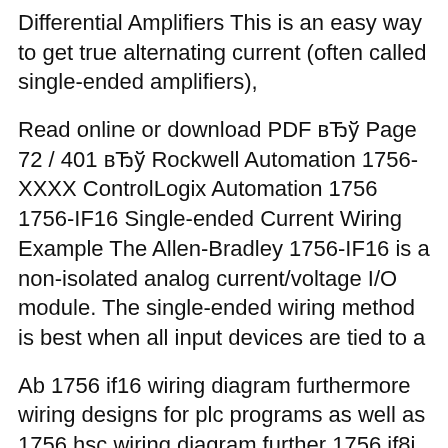Differential Amplifiers This is an easy way to get true alternating current (often called single-ended amplifiers),
Read online or download PDF вЂў Page 72 / 401 вЂў Rockwell Automation 1756-XXXX ControlLogix Automation 1756 1756-IF16 Single-ended Current Wiring Example The Allen-Bradley 1756-IF16 is a non-isolated analog current/voltage I/O module. The single-ended wiring method is best when all input devices are tied to a
Ab 1756 if16 wiring diagram furthermore wiring designs for plc programs as well as 1756 hsc wiring diagram further 1756 if8i wiring